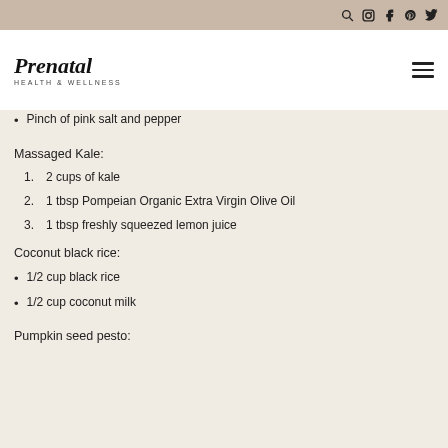Prenatal Health & Wellness — navigation bar with social icons
Pinch of pink salt and pepper
Massaged Kale:
1. 2 cups of kale
2. 1 tbsp Pompeian Organic Extra Virgin Olive Oil
3. 1 tbsp freshly squeezed lemon juice
Coconut black rice:
1/2 cup black rice
1/2 cup coconut milk
Pumpkin seed pesto: